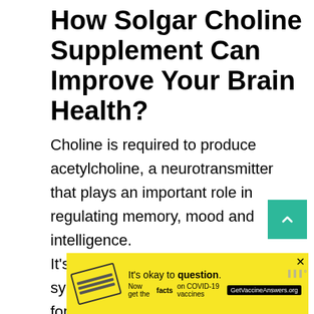How Solgar Choline Supplement Can Improve Your Brain Health?
Choline is required to produce acetylcholine, a neurotransmitter that plays an important role in regulating memory, mood and intelligence.
It's also needed for the process that synthesizes DNA, which is important for
[Figure (other): Green scroll-to-top button with upward chevron arrow]
[Figure (other): Yellow advertisement banner: 'It's okay to question. Now get the facts on COVID-19 vaccines GetVaccineAnswers.org' with stamp graphic and close button]